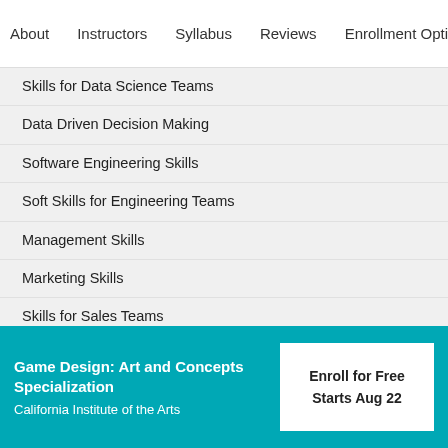About   Instructors   Syllabus   Reviews   Enrollment Opti
Skills for Data Science Teams
Data Driven Decision Making
Software Engineering Skills
Soft Skills for Engineering Teams
Management Skills
Marketing Skills
Skills for Sales Teams
Product Manager Skills
Skills for Finance
Popular Data Science Courses in the UK
Game Design: Art and Concepts Specialization
California Institute of the Arts
Enroll for Free
Starts Aug 22